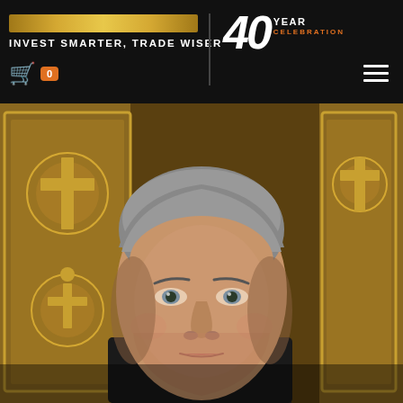INVEST SMARTER, TRADE WISER | 40 YEAR CELEBRATION
[Figure (photo): Portrait photo of a middle-aged man with gray hair against a ornate gold decorative background. The man is wearing dark clothing and looking slightly to the side with a neutral expression.]